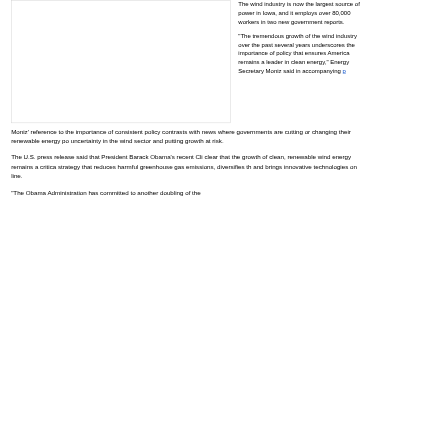[Figure (photo): Large image placeholder box on the left side of the upper portion of the page, bordered with a thin gray line.]
The wind industry is now the largest source of power in Iowa, and it employs over 80,000 workers in two new government reports.
“The tremendous growth of the wind industry over the past several years underscores the importance of policy that ensures America remains a leader in clean energy,” Energy Secretary Moniz said in accompanying p
Moniz’ reference to the importance of consistent policy contrasts with news where governments are cutting or changing their renewable energy po uncertainty in the wind sector and putting growth at risk.
The U.S. press release said that President Barack Obama’s recent Cli clear that the growth of clean, renewable wind energy remains a critica strategy that reduces harmful greenhouse gas emissions, diversifies th and brings innovative technologies on line.
“The Obama Administration has committed to another doubling of the